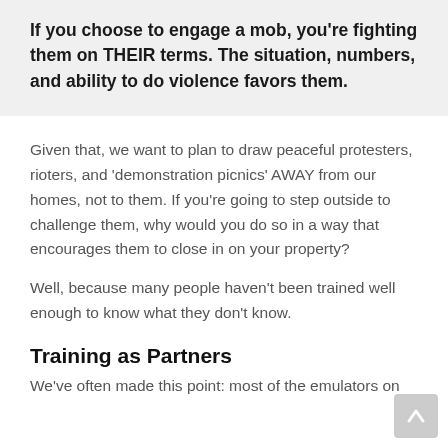If you choose to engage a mob, you're fighting them on THEIR terms. The situation, numbers, and ability to do violence favors them.
Given that, we want to plan to draw peaceful protesters, rioters, and 'demonstration picnics' AWAY from our homes, not to them. If you're going to step outside to challenge them, why would you do so in a way that encourages them to close in on your property?
Well, because many people haven't been trained well enough to know what they don't know.
Training as Partners
We've often made this point: most of the emulators on